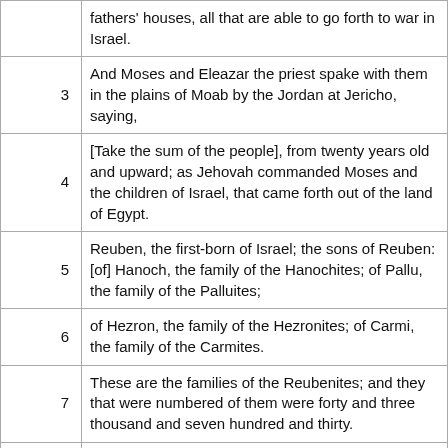| Verse | Text |
| --- | --- |
|  | fathers' houses, all that are able to go forth to war in Israel. |
| 3 | And Moses and Eleazar the priest spake with them in the plains of Moab by the Jordan at Jericho, saying, |
| 4 | [Take the sum of the people], from twenty years old and upward; as Jehovah commanded Moses and the children of Israel, that came forth out of the land of Egypt. |
| 5 | Reuben, the first-born of Israel; the sons of Reuben: [of] Hanoch, the family of the Hanochites; of Pallu, the family of the Palluites; |
| 6 | of Hezron, the family of the Hezronites; of Carmi, the family of the Carmites. |
| 7 | These are the families of the Reubenites; and they that were numbered of them were forty and three thousand and seven hundred and thirty. |
| 8 | And the sons of Pallu: Eliab. |
| 9 | And the sons of Eliab: Nemuel, and Dathan, and Abiram. These are that Dathan and Abiram, who were called of the congregation, who strove against Moses and against Aaron in the company of Korah, when they strove against Jehovah, |